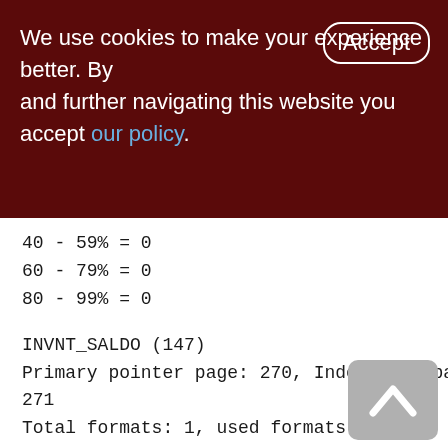We use cookies to make your experience better. By accepting and further navigating this website you accept our policy.
40 - 59% = 0
60 - 79% = 0
80 - 99% = 0
INVNT_SALDO (147)
Primary pointer page: 270, Index root page: 271
Total formats: 1, used formats: 1
Average record length: 64.20, total records: 400
Average version length: 19.56, total versions: 108526, max versions: 609